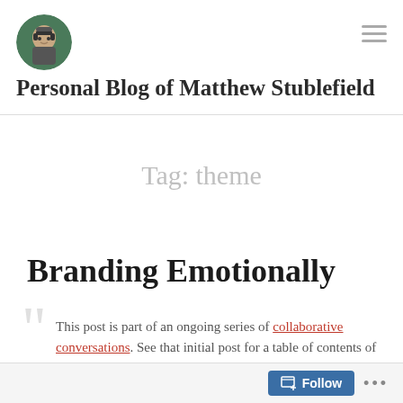Personal Blog of Matthew Stublefield
Tag: theme
Branding Emotionally
This post is part of an ongoing series of collaborative conversations. See that initial post for a table of contents of all articles in the series.
Follow